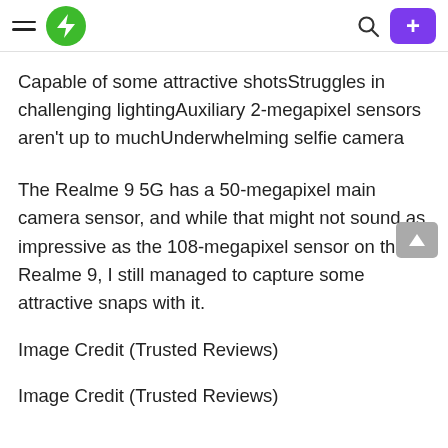[Navigation header with hamburger menu, green lightning bolt logo, search icon, and purple + button]
Capable of some attractive shotsStruggles in challenging lightingAuxiliary 2-megapixel sensors aren't up to muchUnderwhelming selfie camera
The Realme 9 5G has a 50-megapixel main camera sensor, and while that might not sound as impressive as the 108-megapixel sensor on the Realme 9, I still managed to capture some attractive snaps with it.
Image Credit (Trusted Reviews)
Image Credit (Trusted Reviews)